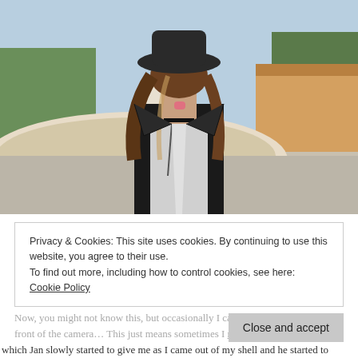[Figure (photo): Young woman wearing a black wide-brim hat, black moto jacket, and choker necklace, standing in front of a large white fountain in an outdoor park/campus setting. She is posing with her tongue out. Background shows trees, a building, and blue sky.]
Privacy & Cookies: This site uses cookies. By continuing to use this website, you agree to their use.
To find out more, including how to control cookies, see here: Cookie Policy
Close and accept
Now, you might not know this, but occasionally I can be an awkward turtle in front of the camera… This just means sometimes I need a little direction,
which Jan slowly started to give me as I came out of my shell and he started to